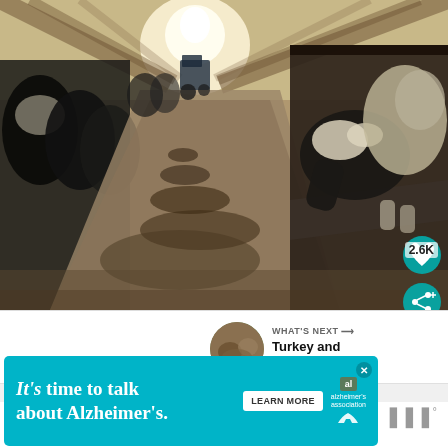[Figure (photo): Interior of a dairy barn with black and white Holstein cows feeding along a stall fence on the right side. A feed alley runs down the center with scattered feed/silage. A tractor or farm vehicle is visible in the background near the light at the far end of the barn. The image includes a teal heart/like button (2.6K likes) and a teal share button overlaid in the bottom-right corner.]
2.6K
WHAT'S NEXT → Turkey and Sage Stuffe...
It's time to talk about Alzheimer's.
LEARN MORE